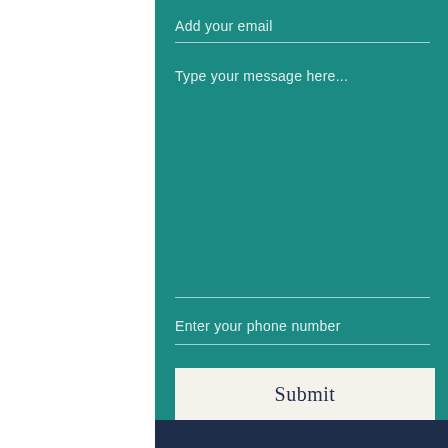Add your email
Type your message here...
Enter your phone number
Submit